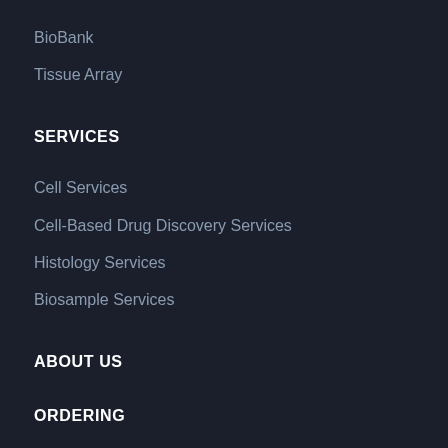BioBank
Tissue Array
SERVICES
Cell Services
Cell-Based Drug Discovery Services
Histology Services
Biosample Services
ABOUT US
ORDERING